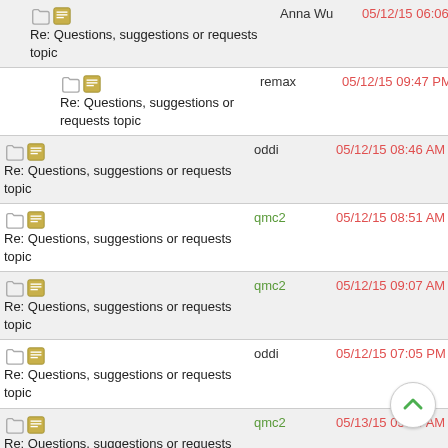Re: Questions, suggestions or requests topic | Anna Wu | 05/12/15 06:06 PM
Re: Questions, suggestions or requests topic | remax | 05/12/15 09:47 PM
Re: Questions, suggestions or requests topic | oddi | 05/12/15 08:46 AM
Re: Questions, suggestions or requests topic | qmc2 | 05/12/15 08:51 AM
Re: Questions, suggestions or requests topic | qmc2 | 05/12/15 09:07 AM
Re: Questions, suggestions or requests topic | oddi | 05/12/15 07:05 PM
Re: Questions, suggestions or requests topic | qmc2 | 05/13/15 05:04 AM
Re: Questions, suggestions or requests topic | Anna Wu | 05/13/15 05:24 AM
Re: Questions, suggestions or requests topic | Anna Wu | 05/13/15 07:02 AM